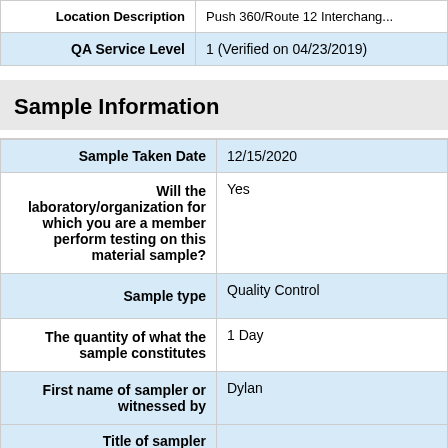| Field | Value |
| --- | --- |
| Location Description | Push 360/Route 12 Interchang... |
| QA Service Level | 1 (Verified on 04/23/2019) |
Sample Information
| Field | Value |
| --- | --- |
| Sample Taken Date | 12/15/2020 |
| Will the laboratory/organization for which you are a member perform testing on this material sample? | Yes |
| Sample type | Quality Control |
| The quantity of what the sample constitutes | 1 Day |
| First name of sampler or witnessed by | Dylan |
| Title of sampler |  |